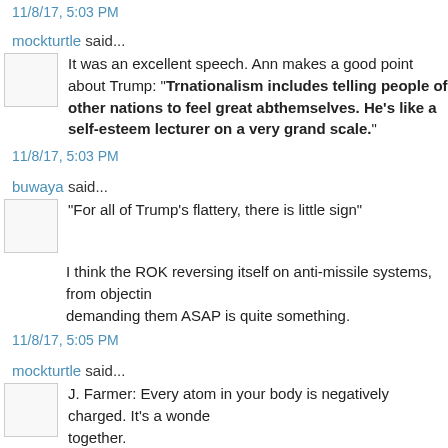11/8/17, 5:03 PM
mockturtle said...
It was an excellent speech. Ann makes a good point about Trump: "Trump's nationalism includes telling people of other nations to feel great about themselves. He's like a self-esteem lecturer on a very grand scale."
11/8/17, 5:03 PM
buwaya said...
"For all of Trump's flattery, there is little sign"
I think the ROK reversing itself on anti-missile systems, from objecting to demanding them ASAP is quite something.
11/8/17, 5:05 PM
mockturtle said...
J. Farmer: Every atom in your body is negatively charged. It's a wonder we hold together.